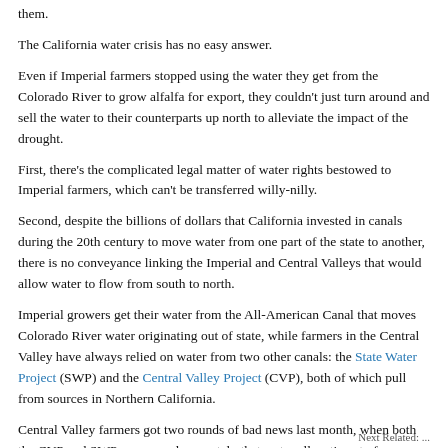them.
The California water crisis has no easy answer.
Even if Imperial farmers stopped using the water they get from the Colorado River to grow alfalfa for export, they couldn't just turn around and sell the water to their counterparts up north to alleviate the impact of the drought.
First, there's the complicated legal matter of water rights bestowed to Imperial farmers, which can't be transferred willy-nilly.
Second, despite the billions of dollars that California invested in canals during the 20th century to move water from one part of the state to another, there is no conveyance linking the Imperial and Central Valleys that would allow water to flow from south to north.
Imperial growers get their water from the All-American Canal that moves Colorado River water originating out of state, while farmers in the Central Valley have always relied on water from two other canals: the State Water Project (SWP) and the Central Valley Project (CVP), both of which pull from sources in Northern California.
Central Valley farmers got two rounds of bad news last month, when both the CVP and SWP announced separately that water allocations to farmers would drop to zero due to the prolonged drought.
Next Related: ...